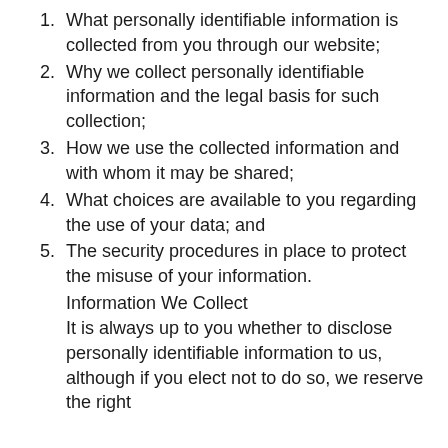What personally identifiable information is collected from you through our website;
Why we collect personally identifiable information and the legal basis for such collection;
How we use the collected information and with whom it may be shared;
What choices are available to you regarding the use of your data; and
The security procedures in place to protect the misuse of your information.
Information We Collect
It is always up to you whether to disclose personally identifiable information to us, although if you elect not to do so, we reserve the right